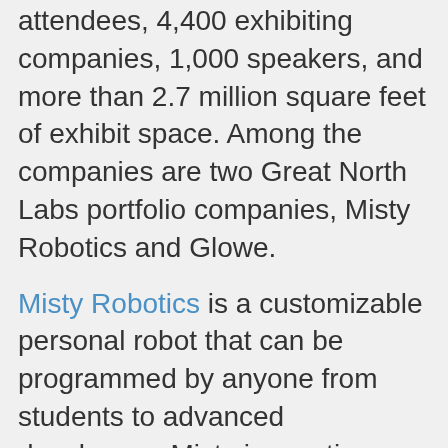attendees, 4,400 exhibiting companies, 1,000 speakers, and more than 2.7 million square feet of exhibit space. Among the companies are two Great North Labs portfolio companies, Misty Robotics and Glowe.
Misty Robotics is a customizable personal robot that can be programmed by anyone from students to advanced developers. Misty is creating a developer community around their hardware, Misty II, which ships in April. Ben Edwards, the UMN-Carlson graduate who founded Refactr and Minnestar in addition to SmartThings, is the Great North Labs advisor who turned our team on to the potential of Misty. The all-star team previously worked on